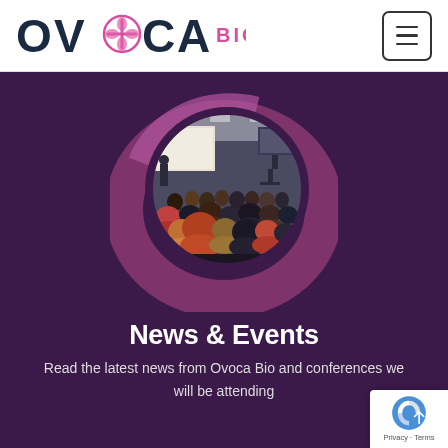[Figure (logo): Ovoca Bio logo with dark navy text 'OVOCA' and pink 'BIO' text, with a pink cross/plus icon between O and C]
[Figure (illustration): Conference audience photo inside a circular purple/mauve ring frame, showing attendees from behind facing a lit stage with a speaker and screen, on a dark purple background]
News & Events
Read the latest news from Ovoca Bio and conferences we will be attending